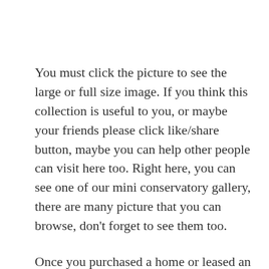You must click the picture to see the large or full size image. If you think this collection is useful to you, or maybe your friends please click like/share button, maybe you can help other people can visit here too. Right here, you can see one of our mini conservatory gallery, there are many picture that you can browse, don't forget to see them too.
Once you purchased a home or leased an office area, the subsequent factor you'll think of is designing the area to something you love or fit your type and objective. Details are everything. A simple kitchen will still stand out if objects such as fixtures, storage area...